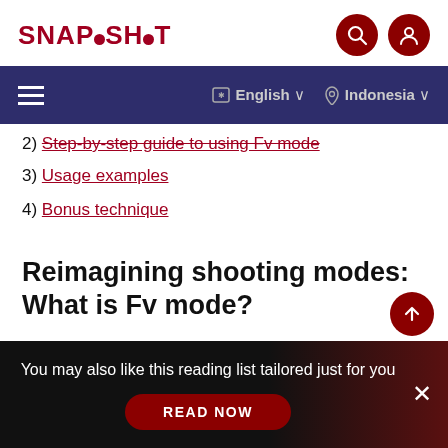SNAPSHOT
2) Step-by-step guide to using Fv mode
3) Usage examples
4) Bonus technique
Reimagining shooting modes: What is Fv mode?
You may also like this reading list tailored just for you
READ NOW